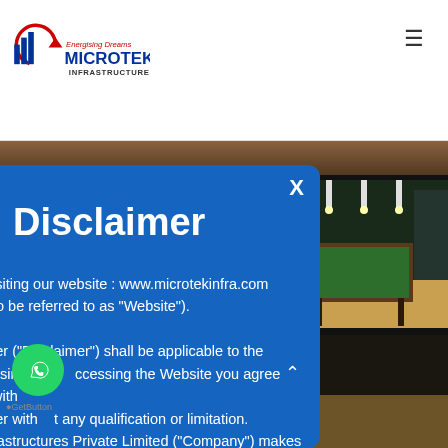[Figure (logo): Microtek Infrastructures logo with red arrow, blue text 'MICROTEK', red text 'Energising Dreams', dark text 'INFRASTRUCTURES']
[Figure (photo): Background strip showing wooden/gavel scene]
[Figure (photo): Billiards/game room photo on right side]
Legal Disclaimer
By visiting our website : www.microtekinfra.com (hereinafter to be referred to as "Website").
This disclaimer ("Disclaimer") shall be applicable to the persons using / accessing the Website you agree with this disclaimer without any qualification or limitation. Microtek Infrastructures Private Limited ("Company") makes